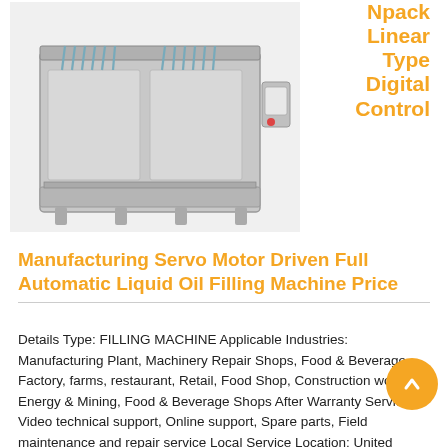Npack Linear Type Digital Control
[Figure (photo): Industrial liquid filling machine - Npack linear type servo motor driven full automatic liquid oil filling machine, grey/silver colored with multiple filling nozzles and control panel on the right side]
Manufacturing Servo Motor Driven Full Automatic Liquid Oil Filling Machine Price
Details Type: FILLING MACHINE Applicable Industries: Manufacturing Plant, Machinery Repair Shops, Food & Beverage Factory, farms, restaurant, Retail, Food Shop, Construction works , Energy & Mining, Food & Beverage Shops After Warranty Service: Video technical support, Online support, Spare parts, Field maintenance and repair service Local Service Location: United States Showroom Location: United States Condition: New Application: Food